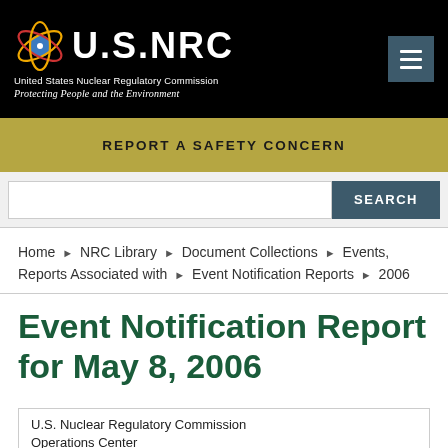U.S.NRC United States Nuclear Regulatory Commission Protecting People and the Environment
REPORT A SAFETY CONCERN
SEARCH
Home ▶ NRC Library ▶ Document Collections ▶ Events, Reports Associated with ▶ Event Notification Reports ▶ 2006
Event Notification Report for May 8, 2006
U.S. Nuclear Regulatory Commission Operations Center